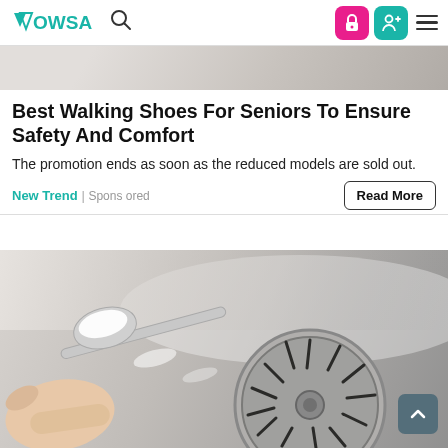Wowsa — navigation bar with logo, search, and icons
[Figure (photo): Cropped top portion of a walking shoe photo, light grey/beige tones]
Best Walking Shoes For Seniors To Ensure Safety And Comfort
The promotion ends as soon as the reduced models are sold out.
New Trend | Sponsored
[Figure (photo): Hand holding a spoon of white powder (baking soda) over a kitchen sink drain]